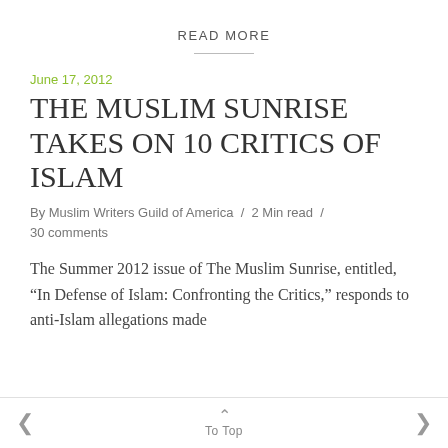READ MORE
June 17, 2012
THE MUSLIM SUNRISE TAKES ON 10 CRITICS OF ISLAM
By Muslim Writers Guild of America  /  2 Min read  /  30 comments
The Summer 2012 issue of The Muslim Sunrise, entitled, “In Defense of Islam: Confronting the Critics,” responds to anti-Islam allegations made
< To Top >